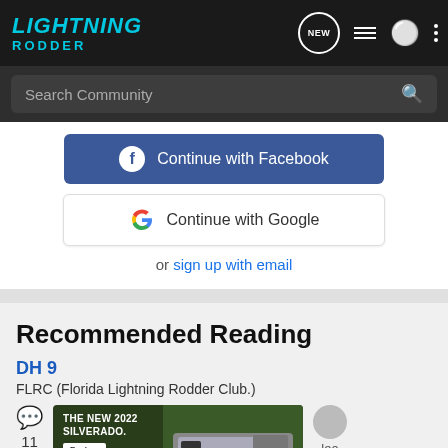[Figure (screenshot): Lightning Rodder community website header with logo, navigation icons, search bar, login options (Facebook and Google), and recommended reading section showing article 'DH 9' from FLRC (Florida Lightning Rodder Club.) with a Chevrolet Silverado 2022 advertisement.]
LIGHTNING RODDER
Search Community
Continue with Facebook
Continue with Google
or sign up with email
Recommended Reading
DH 9
FLRC (Florida Lightning Rodder Club.)
11
THE NEW 2022 SILVERADO.
Explore
CHEVROLET
lea